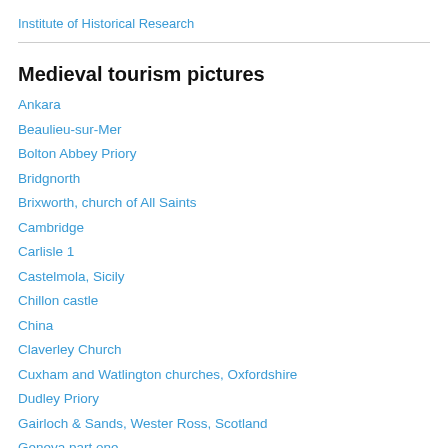Institute of Historical Research
Medieval tourism pictures
Ankara
Beaulieu-sur-Mer
Bolton Abbey Priory
Bridgnorth
Brixworth, church of All Saints
Cambridge
Carlisle 1
Castelmola, Sicily
Chillon castle
China
Claverley Church
Cuxham and Watlington churches, Oxfordshire
Dudley Priory
Gairloch & Sands, Wester Ross, Scotland
Geneva part one